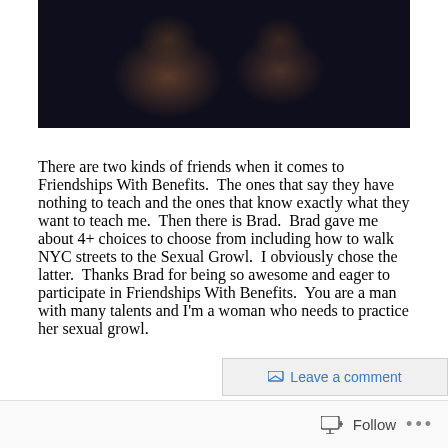[Figure (photo): Dark photo of two people close together, faces partially visible in low light]
There are two kinds of friends when it comes to Friendships With Benefits.  The ones that say they have nothing to teach and the ones that know exactly what they want to teach me.  Then there is Brad.  Brad gave me about 4+ choices to choose from including how to walk NYC streets to the Sexual Growl.  I obviously chose the latter.  Thanks Brad for being so awesome and eager to participate in Friendships With Benefits.  You are a man with many talents and I'm a woman who needs to practice her sexual growl.
Leave a comment
Follow  ...